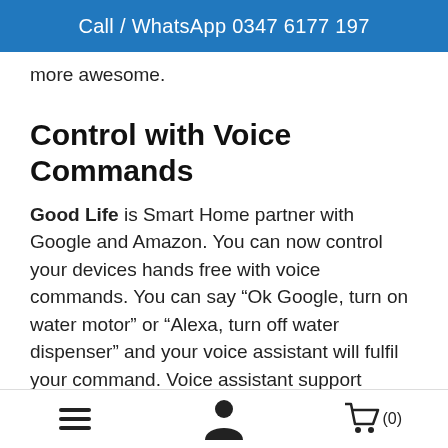Call / WhatsApp 0347 6177 197
more awesome.
Control with Voice Commands
Good Life is Smart Home partner with Google and Amazon. You can now control your devices hands free with voice commands. You can say “Ok Google, turn on water motor” or “Alexa, turn off water dispenser” and your voice assistant will fulfil your command. Voice assistant support available on multiple platforms like on your phone, on Google Home & Amazon Alexa speakers, on smart displays, in your car, on your Android TV remote and smart watches.
Navigation icons: menu, user, cart (0)